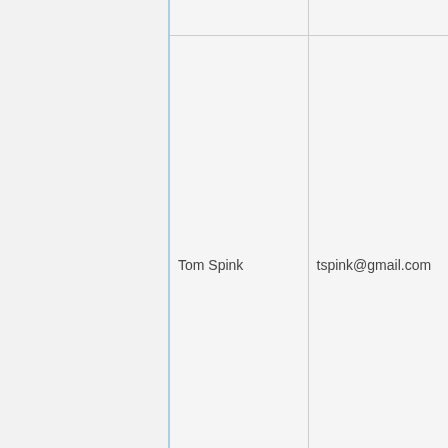|  | Name | Email |
| --- | --- | --- |
|  | Tom Spink | tspink@gmail.com |